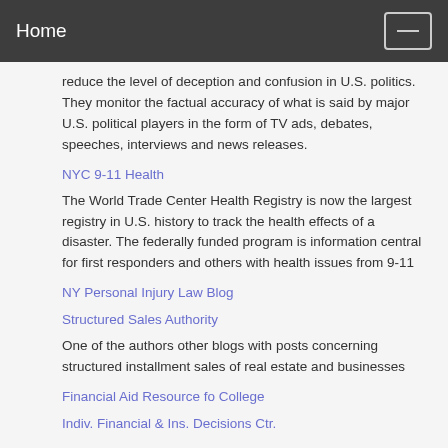Home
reduce the level of deception and confusion in U.S. politics. They monitor the factual accuracy of what is said by major U.S. political players in the form of TV ads, debates, speeches, interviews and news releases.
NYC 9-11 Health
The World Trade Center Health Registry is now the largest registry in U.S. history to track the health effects of a disaster. The federally funded program is information central for first responders and others with health issues from 9-11
NY Personal Injury Law Blog
Structured Sales Authority
One of the authors other blogs with posts concerning structured installment sales of real estate and businesses
Financial Aid Resource fo College
Indiv. Financial & Ins. Decisions Ctr.